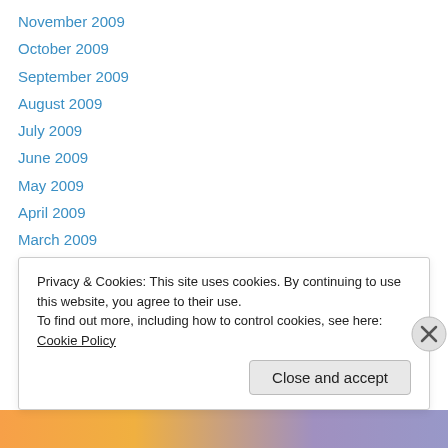November 2009
October 2009
September 2009
August 2009
July 2009
June 2009
May 2009
April 2009
March 2009
February 2009
January 2009
December 2008
November 2008
Privacy & Cookies: This site uses cookies. By continuing to use this website, you agree to their use.
To find out more, including how to control cookies, see here: Cookie Policy